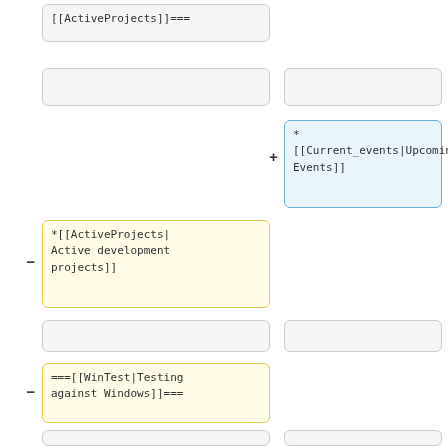[Figure (screenshot): Diff view showing wiki markup changes. Left column shows removed lines (yellow border), right column shows added lines (blue border), and unchanged lines (gray border). Content includes ActiveProjects, Current_events, WinTest links and HTML comments.]